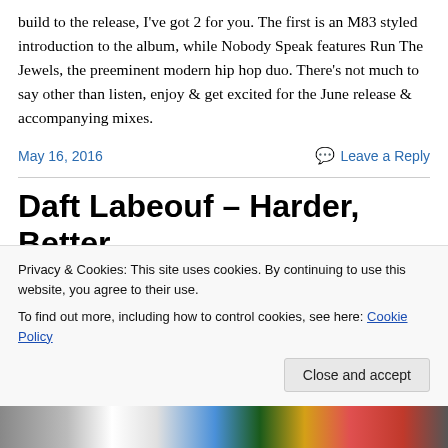build to the release, I've got 2 for you. The first is an M83 styled introduction to the album, while Nobody Speak features Run The Jewels, the preeminent modern hip hop duo. There's not much to say other than listen, enjoy & get excited for the June release & accompanying mixes.
May 16, 2016
Leave a Reply
Daft Labeouf – Harder, Better,
Privacy & Cookies: This site uses cookies. By continuing to use this website, you agree to their use.
To find out more, including how to control cookies, see here: Cookie Policy
Close and accept
[Figure (photo): Partial thumbnail strip at the bottom of the page showing a colorful image]